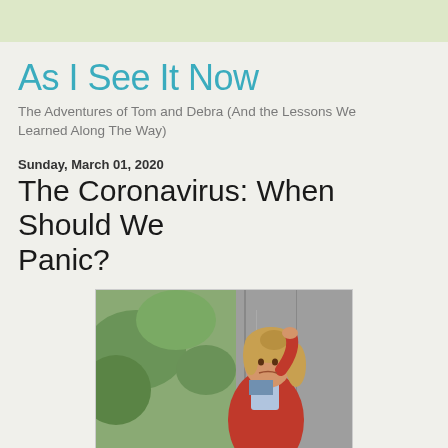As I See It Now
The Adventures of Tom and Debra (And the Lessons We Learned Along The Way)
Sunday, March 01, 2020
The Coronavirus: When Should We Panic?
[Figure (photo): A woman in a red cardigan sweater with blonde hair, leaning against a concrete wall with green foliage in the background, holding her hair with one hand and looking stressed or panicked.]